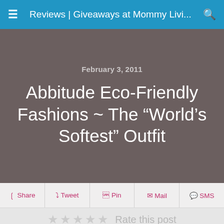Reviews | Giveaways at Mommy Livi...
February 3, 2011
Abbitude Eco-Friendly Fashions ~ The “World’s Softest” Outfit
f Share   ɢ Tweet   Ⓟ Pin   ✉ Mail   ✉ SMS
★★★★★ Rate this post
[Figure (logo): Abbitude logo with bold italic text in dark blue]
Now that I’m a full-time